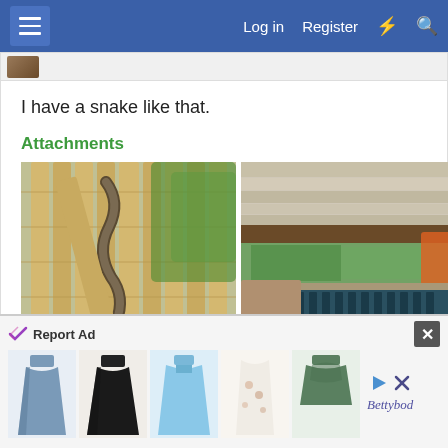Log in  Register
I have a snake like that.
Attachments
[Figure (photo): Close-up photo of a snake among bamboo poles with green foliage in background. Filename: F429A93F-4EDB-41EB-AB32...]
[Figure (photo): Photo taken from under a structure showing a snake coiled with dark blue/teal objects visible and orange item. Filename: A5534A96-56FF-4C3D-A7D1...]
Reply
Report Ad
[Figure (photo): Advertisement banner showing 5 clothing items (dresses/tops) and a brand logo]